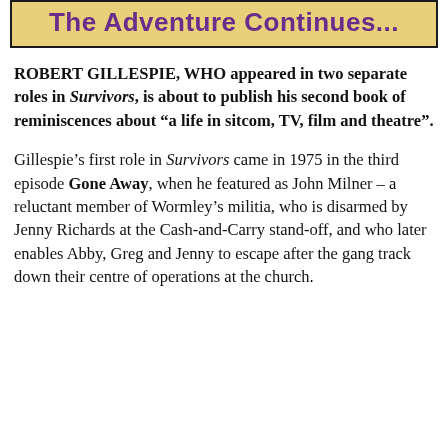The Adventure Continues...
ROBERT GILLESPIE, WHO appeared in two separate roles in Survivors, is about to publish his second book of reminiscences about “a life in sitcom, TV, film and theatre”.
Gillespie’s first role in Survivors came in 1975 in the third episode Gone Away, when he featured as John Milner – a reluctant member of Wormley’s militia, who is disarmed by Jenny Richards at the Cash-and-Carry stand-off, and who later enables Abby, Greg and Jenny to escape after the gang track down their centre of operations at the church.